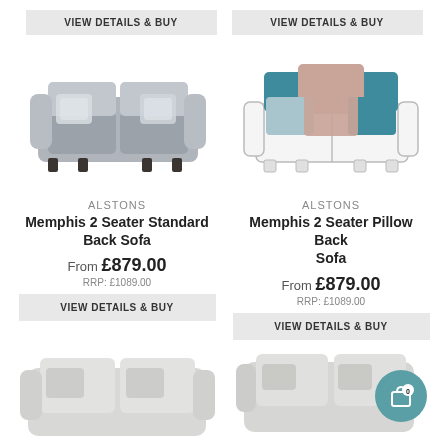[Figure (other): VIEW DETAILS & BUY button (top left)]
[Figure (other): VIEW DETAILS & BUY button (top right)]
[Figure (photo): Photo of Alstons Memphis 2 Seater Standard Back Sofa in grey fabric]
[Figure (illustration): Illustration of Alstons Memphis 2 Seater Pillow Back Sofa with colourful cushions (teal, blush, light blue)]
ALSTONS
Memphis 2 Seater Standard Back Sofa
From £879.00
RRP: £1089.00
ALSTONS
Memphis 2 Seater Pillow Back Sofa
From £879.00
RRP: £1089.00
[Figure (other): VIEW DETAILS & BUY button (bottom left)]
[Figure (other): VIEW DETAILS & BUY button (bottom right)]
[Figure (photo): Partial photo of light grey sofa (bottom left)]
[Figure (photo): Partial photo of light grey sofa/chair (bottom right)]
[Figure (other): Shopping cart icon with badge showing 0]